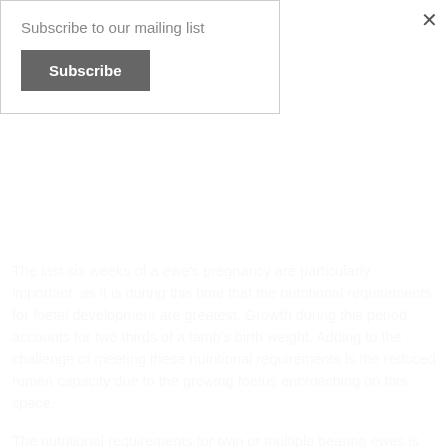Subscribe to our mailing list
Subscribe
The last six weeks of a ewe’s pregnancy are particularly important, as it is during this time that the nutritional requirements for foetal development are greatest. Growth during this period accounts for two thirds of a lamb’s birth weight. Adding to the challenge of meeting these nutritional requirements is the reduced rumen capacity due to the growing foetus encroaching on this space.
The nutritional requirements for twin or multiple bearing ewes is considerably higher than for ewes carrying single lambs; energy requirements alone being 15% greater. Because of this additional need, it is best where possible to run multiple bearing ewes as a separate management group. The ability to feed a ewe with multiple foetuses